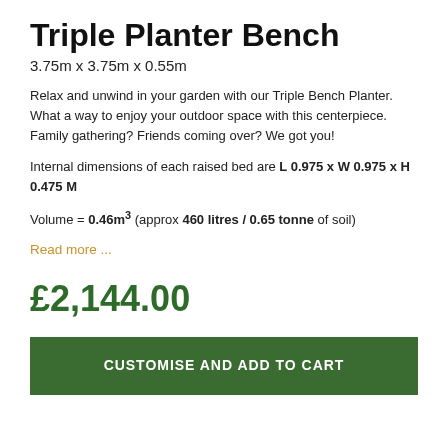Triple Planter Bench
3.75m x 3.75m x 0.55m
Relax and unwind in your garden with our Triple Bench Planter. What a way to enjoy your outdoor space with this centerpiece. Family gathering? Friends coming over? We got you!
Internal dimensions of each raised bed are L 0.975 x W 0.975 x H 0.475 M
Volume = 0.46m³ (approx 460 litres / 0.65 tonne of soil)
Read more ...
£2,144.00
CUSTOMISE AND ADD TO CART